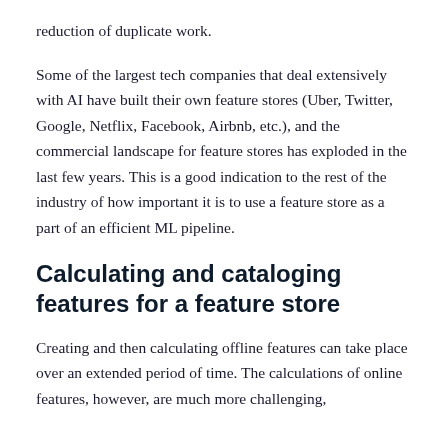reduction of duplicate work.
Some of the largest tech companies that deal extensively with AI have built their own feature stores (Uber, Twitter, Google, Netflix, Facebook, Airbnb, etc.), and the commercial landscape for feature stores has exploded in the last few years. This is a good indication to the rest of the industry of how important it is to use a feature store as a part of an efficient ML pipeline.
Calculating and cataloging features for a feature store
Creating and then calculating offline features can take place over an extended period of time. The calculations of online features, however, are much more challenging,